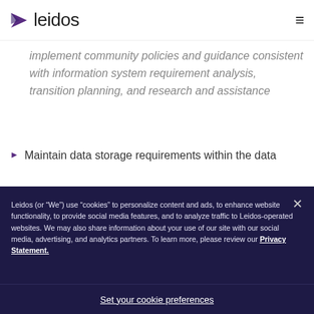leidos
implement community policies and guidance consistent with information system requirement analysis, transition planning, and research and assistance
Maintain data storage requirements within the data
Leidos (or “We”) use “cookies” to personalize content and ads, to enhance website functionality, to provide social media features, and to analyze traffic to Leidos-operated websites. We may also share information about your use of our site with our social media, advertising, and analytics partners. To learn more, please review our Privacy Statement.
Set your cookie preferences